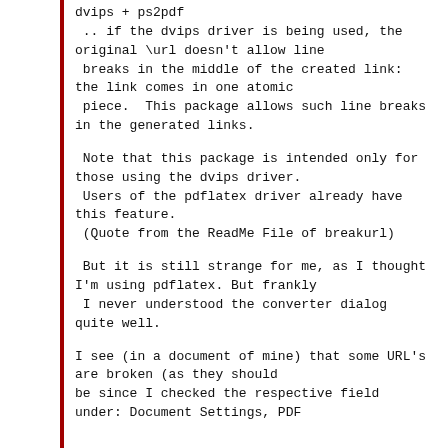dvips + ps2pdf
 .. if the dvips driver is being used, the original \url doesn't allow line
 breaks in the middle of the created link: the link comes in one atomic
 piece.  This package allows such line breaks in the generated links.
Note that this package is intended only for those using the dvips driver.
 Users of the pdflatex driver already have this feature.
 (Quote from the ReadMe File of breakurl)
But it is still strange for me, as I thought I'm using pdflatex. But frankly
 I never understood the converter dialog quite well.
I see (in a document of mine) that some URL's are broken (as they should
be since I checked the respective field
under: Document Settings, PDF